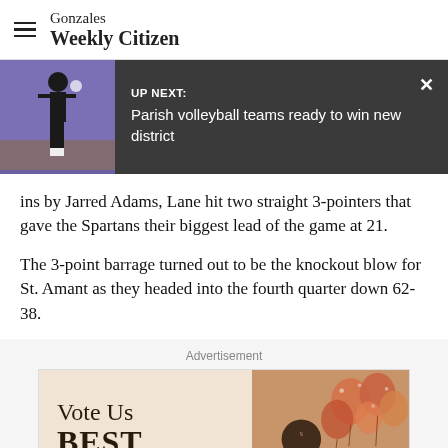Gonzales Weekly Citizen
[Figure (screenshot): UP NEXT banner with volleyball player thumbnail and text: 'UP NEXT: Parish volleyball teams ready to win new district' with close button]
ins by Jarred Adams, Lane hit two straight 3-pointers that gave the Spartans their biggest lead of the game at 21.
The 3-point barrage turned out to be the knockout blow for St. Amant as they headed into the fourth quarter down 62-38.
Advertisement
[Figure (photo): Advertisement banner showing 'Vote Us BEST' text with balloons on right side]